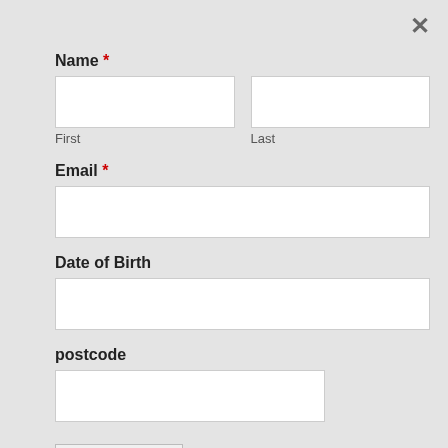×
Name *
First
Last
Email *
Date of Birth
postcode
Submit